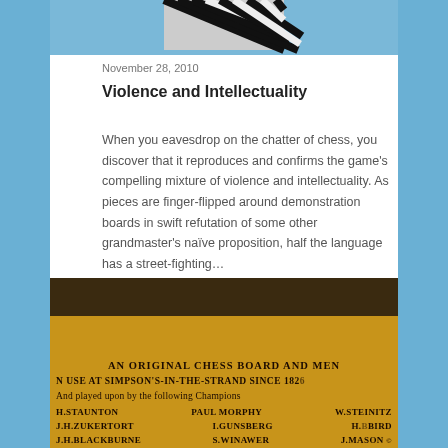[Figure (photo): Black and white abstract/zebra pattern image at top of article card]
November 28, 2010
Violence and Intellectuality
When you eavesdrop on the chatter of chess, you discover that it reproduces and confirms the game's compelling mixture of violence and intellectuality. As pieces are finger-flipped around demonstration boards in swift refutation of some other grandmaster's naïve proposition, half the language has a street-fighting…
[Figure (photo): Photo of a wooden chess board plaque reading: AN ORIGINAL CHESS BOARD AND MEN IN USE AT SIMPSON'S-IN-THE-STRAND SINCE 1826 And played upon by the following Champions: H.STAUNTON PAUL MORPHY W.STEINITZ J.H.ZUKERTORT I.GUNSBERG H.BIRD J.H.BLACKBURNE S.WINAWER J.MASON S.TARRASCH M.TCHIGORIN D.JANOWSKY S.TINSLEY and DOCTOR E.LASKER - R.KEENE]